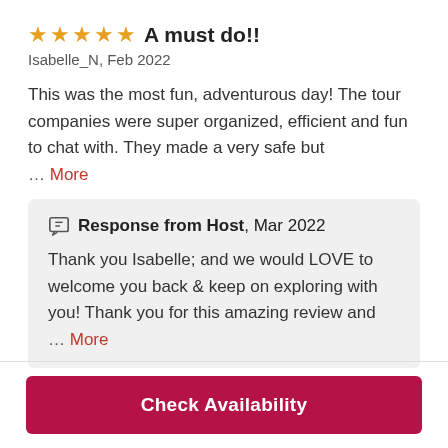★★★★★ A must do!!
Isabelle_N, Feb 2022
This was the most fun, adventurous day! The tour companies were super organized, efficient and fun to chat with. They made a very safe but
... More
Response from Host, Mar 2022
Thank you Isabelle; and we would LOVE to welcome you back & keep on exploring with you! Thank you for this amazing review and
... More
Check Availability